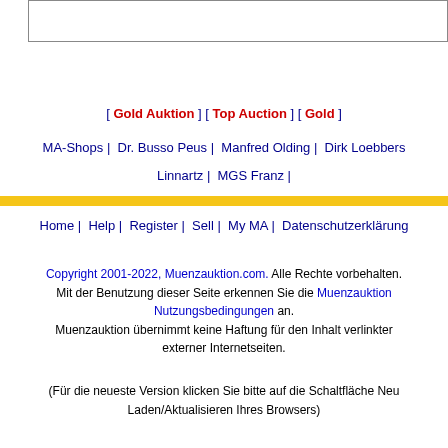[Figure (other): Empty bordered image/banner box at top of page]
[ Gold Auktion ] [ Top Auction ] [ Gold ]
MA-Shops | Dr. Busso Peus | Manfred Olding | Dirk Loebbers | Linnartz | MGS Franz |
Home | Help | Register | Sell | My MA | Datenschutzerklärung
Copyright 2001-2022, Muenzauktion.com. Alle Rechte vorbehalten. Mit der Benutzung dieser Seite erkennen Sie die Muenzauktion Nutzungsbedingungen an. Muenzauktion übernimmt keine Haftung für den Inhalt verlinkter externer Internetseiten.
(Für die neueste Version klicken Sie bitte auf die Schaltfläche Neu Laden/Aktualisieren Ihres Browsers)